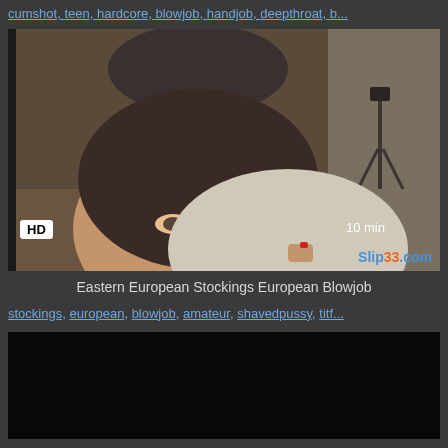cumshot, teen, hardcore, blowjob, handjob, deepthroat, b...
[Figure (photo): Video thumbnail showing a woman looking at camera, HD badge bottom left, 10 min duration bottom right, Slip33.com watermark]
Eastern European Stockings European Blowjob
stockings, european, blowjob, amateur, shavedpussy, titf...
[Figure (photo): Dark/black video thumbnail]